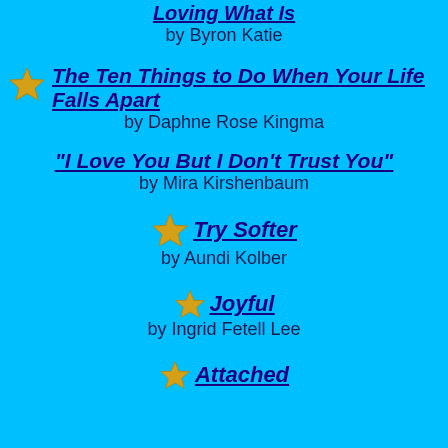Loving What Is by Byron Katie
The Ten Things to Do When Your Life Falls Apart by Daphne Rose Kingma
"I Love You But I Don't Trust You" by Mira Kirshenbaum
Try Softer by Aundi Kolber
Joyful by Ingrid Fetell Lee
Attached